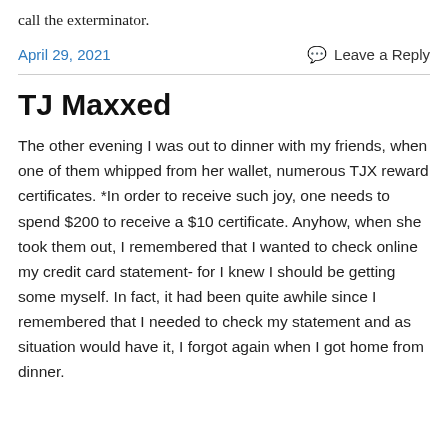call the exterminator.
April 29, 2021
💬 Leave a Reply
TJ Maxxed
The other evening I was out to dinner with my friends, when one of them whipped from her wallet, numerous TJX reward certificates. *In order to receive such joy, one needs to spend $200 to receive a $10 certificate. Anyhow, when she took them out, I remembered that I wanted to check online my credit card statement- for I knew I should be getting some myself. In fact, it had been quite awhile since I remembered that I needed to check my statement and as situation would have it, I forgot again when I got home from dinner.